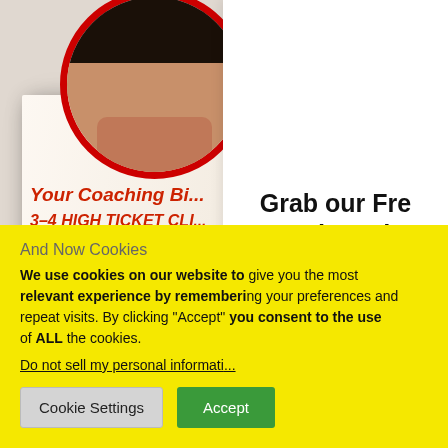[Figure (screenshot): Book cover showing 'Your Coaching Bi... 3-4 HIGH TICKET CLI...' by Julie Sv... with circular author portrait at top with red border]
Grab our Fre... and Lead... Chea...
We Promise it does wh... doesn't bite :) Not m... k...
[Figure (photo): Cat wearing a blue knit hat, photo in bottom right area]
And Now Cookies
We use cookies on our website to... relevant experience by rememberi... repeat visits. By clicking "Accept"... of ALL the cookies.
Do not sell my personal informati...